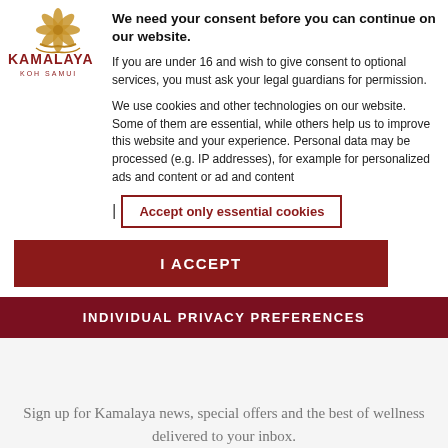[Figure (logo): Kamalaya Koh Samui logo with golden lotus/mandala ornament above stylized text]
We need your consent before you can continue on our website.
If you are under 16 and wish to give consent to optional services, you must ask your legal guardians for permission.
We use cookies and other technologies on our website. Some of them are essential, while others help us to improve this website and your experience. Personal data may be processed (e.g. IP addresses), for example for personalized ads and content or ad and content
Accept only essential cookies
I ACCEPT
INDIVIDUAL PRIVACY PREFERENCES
Sign up for Kamalaya news, special offers and the best of wellness delivered to your inbox.